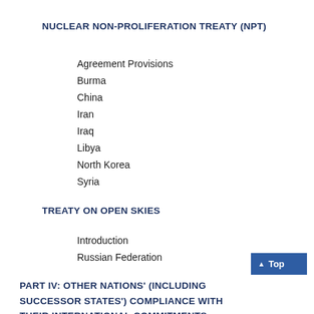NUCLEAR NON-PROLIFERATION TREATY (NPT)
Agreement Provisions
Burma
China
Iran
Iraq
Libya
North Korea
Syria
TREATY ON OPEN SKIES
Introduction
Russian Federation
PART IV: OTHER NATIONS' (INCLUDING SUCCESSOR STATES') COMPLIANCE WITH THEIR INTERNATIONAL COMMITMENTS